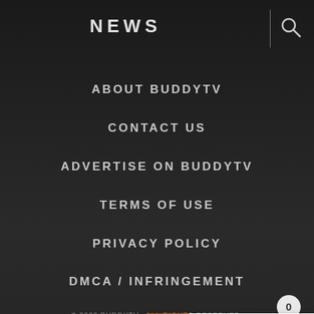NEWS
ABOUT BUDDYTV
CONTACT US
ADVERTISE ON BUDDYTV
TERMS OF USE
PRIVACY POLICY
DMCA / INFRINGEMENT
© 2022 BUDDYTV.  ALL RIGHTS RESERVED.
EXCLUSIVE MEMBER OF MEDIAVINE FOOD
[Figure (other): Share widget with count 0 and a blue share button]
[Figure (other): What's Next bar: thumbnail image, label 'WHAT'S NEXT →', description 'All About the Latest Seas...']
[Figure (other): Big Brothers Big Sisters advertisement banner: green background, text 'MILLIONS OF KIDS ARE GROWING UP WITHOUT A MENTOR... BECOME A BIG TODAY', Learn How button]